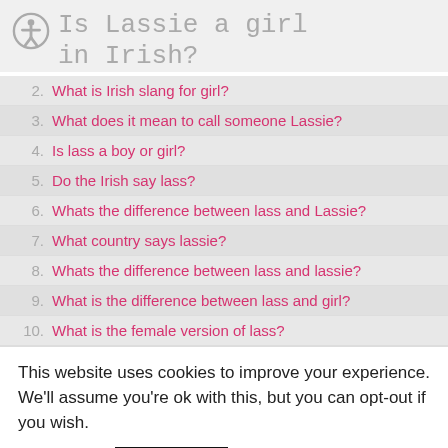Is Lassie a girl in Irish?
2. What is Irish slang for girl?
3. What does it mean to call someone Lassie?
4. Is lass a boy or girl?
5. Do the Irish say lass?
6. Whats the difference between lass and Lassie?
7. What country says lassie?
8. Whats the difference between lass and lassie?
9. What is the difference between lass and girl?
10. What is the female version of lass?
This website uses cookies to improve your experience. We'll assume you're ok with this, but you can opt-out if you wish.
Accept  Read More